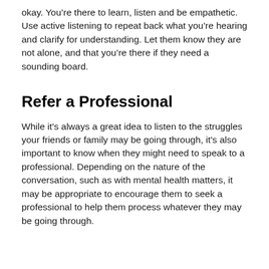okay. You're there to learn, listen and be empathetic. Use active listening to repeat back what you're hearing and clarify for understanding. Let them know they are not alone, and that you're there if they need a sounding board.
Refer a Professional
While it's always a great idea to listen to the struggles your friends or family may be going through, it's also important to know when they might need to speak to a professional. Depending on the nature of the conversation, such as with mental health matters, it may be appropriate to encourage them to seek a professional to help them process whatever they may be going through.